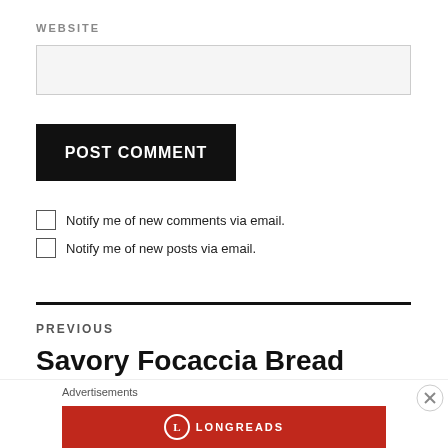WEBSITE
[Figure (other): Text input field for website URL, light gray background]
POST COMMENT
Notify me of new comments via email.
Notify me of new posts via email.
PREVIOUS
Savory Focaccia Bread Pudding
Advertisements
[Figure (logo): Longreads advertisement banner, red background with Longreads logo]